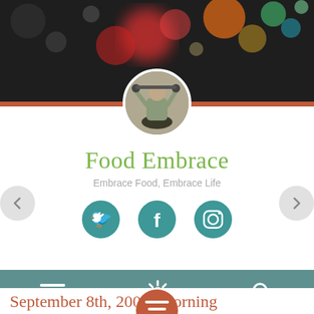[Figure (photo): Dark bokeh background hero banner with blurred colored lights (red, orange, green, white) on dark background]
[Figure (photo): Circular avatar photo of a person holding a camera/object overhead, in a gym or studio setting]
Food Embrace
Embrace Food, Embrace Life
[Figure (infographic): Three teal circular social media icons: Twitter bird, Facebook f, Instagram camera]
[Figure (infographic): Teal navigation bar with three white icons: hamburger menu, settings gear, search magnifier]
[Figure (infographic): Terracotta/rust circular floating action button with white lines/text icon]
September 8th, 2008: Morning